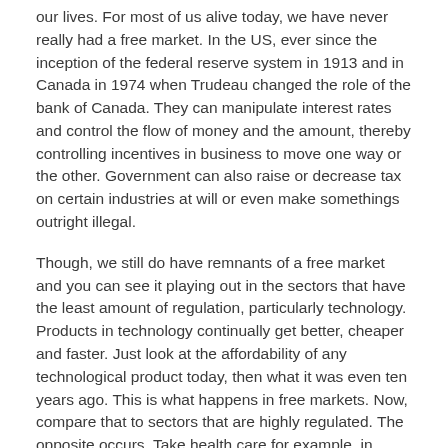our lives. For most of us alive today, we have never really had a free market. In the US, ever since the inception of the federal reserve system in 1913 and in Canada in 1974 when Trudeau changed the role of the bank of Canada. They can manipulate interest rates and control the flow of money and the amount, thereby controlling incentives in business to move one way or the other. Government can also raise or decrease tax on certain industries at will or even make somethings outright illegal.
Though, we still do have remnants of a free market and you can see it playing out in the sectors that have the least amount of regulation, particularly technology. Products in technology continually get better, cheaper and faster. Just look at the affordability of any technological product today, then what it was even ten years ago. This is what happens in free markets. Now, compare that to sectors that are highly regulated. The opposite occurs. Take health care for example, in Canada and the US, it's a similar market situation even despite the fact that our two health care